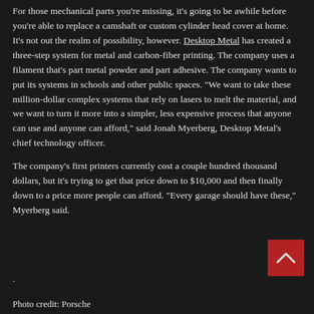For those mechanical parts you're missing, it's going to be awhile before you're able to replace a camshaft or custom cylinder head cover at home. It's not out the realm of possibility, however. Desktop Metal has created a three-step system for metal and carbon-fiber printing. The company uses a filament that's part metal powder and part adhesive. The company wants to put its systems in schools and other public spaces. "We want to take these million-dollar complex systems that rely on lasers to melt the material, and we want to turn it more into a simpler, less expensive process that anyone can use and anyone can afford," said Jonah Myerberg, Desktop Metal's chief technology officer.
The company's first printers currently cost a couple hundred thousand dollars, but it's trying to get that price down to $10,000 and then finally down to a price more people can afford. "Every garage should have these," Myerberg said.
.
Photo credit: Porsche